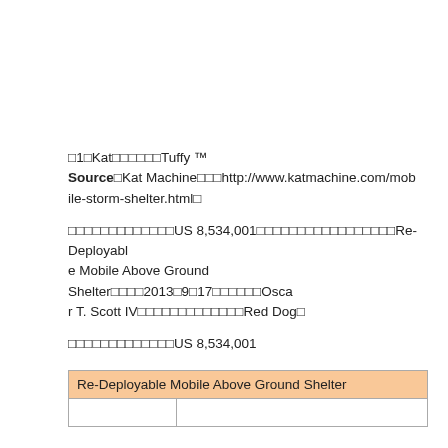□1□Kat□□□□□□Tuffy ™
Source□Kat Machine□□□http://www.katmachine.com/mobile-storm-shelter.html□
□□□□□□□□□□□□□US 8,534,001□□□□□□□□□□□□□□□□□Re-Deployable Mobile Above Ground Shelter□□□□2013□9□17□□□□□□Oscar T. Scott IV□□□□□□□□□□□□□Red Dog□
□□□□□□□□□□□□□US 8,534,001
| Re-Deployable Mobile Above Ground Shelter |
| --- |
|  |  |